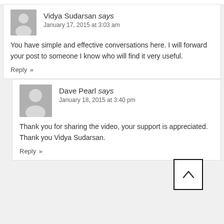Vidya Sudarsan says
January 17, 2015 at 3:03 am
You have simple and effective conversations here. I will forward your post to someone I know who will find it very useful.
Reply »
Dave Pearl says
January 18, 2015 at 3:40 pm
Thank you for sharing the video, your support is appreciated. Thank you Vidya Sudarsan.
Reply »